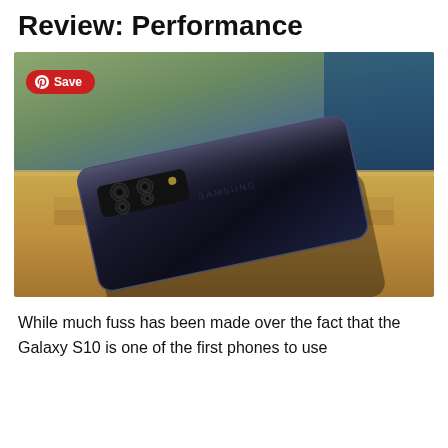Review: Performance
[Figure (photo): Samsung Galaxy S10 smartphone lying face-down on a wooden surface, showing the triple-camera array on the back. A Pinterest Save button overlay is visible in the upper-left corner of the photo.]
While much fuss has been made over the fact that the Galaxy S10 is one of the first phones to use